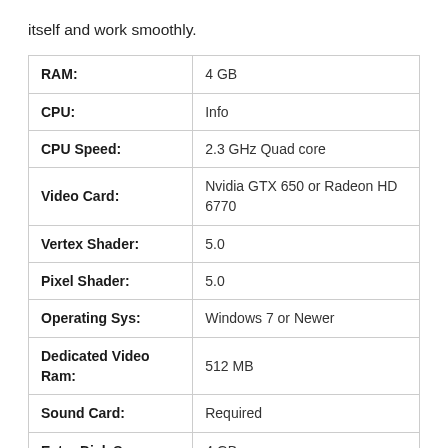itself and work smoothly.
| RAM: | 4 GB |
| CPU: | Info |
| CPU Speed: | 2.3 GHz Quad core |
| Video Card: | Nvidia GTX 650 or Radeon HD 6770 |
| Vertex Shader: | 5.0 |
| Pixel Shader: | 5.0 |
| Operating Sys: | Windows 7 or Newer |
| Dedicated Video Ram: | 512 MB |
| Sound Card: | Required |
| Extra Disk Space: | 4 GB |